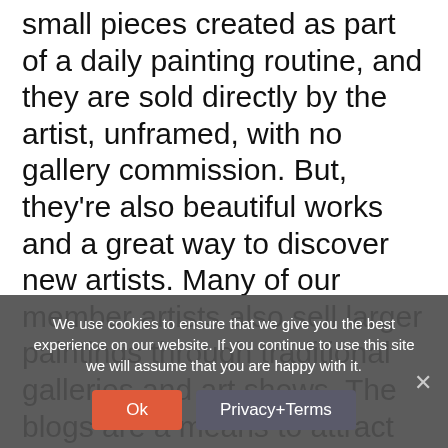small pieces created as part of a daily painting routine, and they are sold directly by the artist, unframed, with no gallery commission. But, they're also beautiful works and a great way to discover new artists. Many of our member artists also sell larger paintings through traditional galleries and art shows. The blogs are a means to attract an online audience that may be completely independent of our gallery collectors, or they may eventually become collectors of our larger works as well. So, we hope that
We use cookies to ensure that we give you the best experience on our website. If you continue to use this site we will assume that you are happy with it.